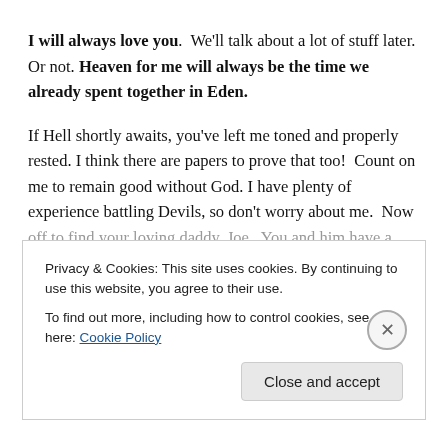I will always love you.  We'll talk about a lot of stuff later. Or not. Heaven for me will always be the time we already spent together in Eden.
If Hell shortly awaits, you've left me toned and properly rested. I think there are papers to prove that too!  Count on me to remain good without God. I have plenty of experience battling Devils, so don't worry about me.  Now off to find your loving daddy, Joe.  You and him have a
Privacy & Cookies: This site uses cookies. By continuing to use this website, you agree to their use.
To find out more, including how to control cookies, see here: Cookie Policy
Close and accept